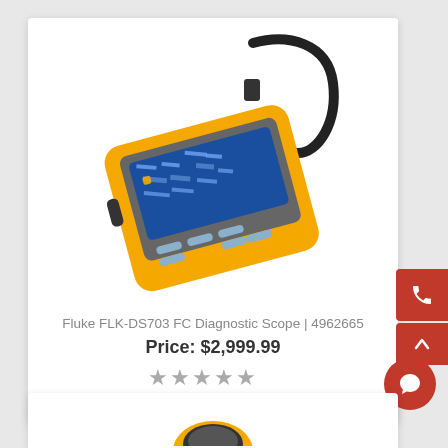[Figure (photo): Fluke FLK-DS703 FC Diagnostic Scope handheld device with yellow casing, gray touchscreen display showing a blue circuit board image, and a black flexible probe cable coiled above the device.]
Fluke FLK-DS703 FC Diagnostic Scope | 4962665
Price: $2,999.99
[Figure (other): Five-star rating display showing empty/gray stars]
[Figure (photo): Partial view of a second product card at the bottom of the page showing the top portion of another Fluke device.]